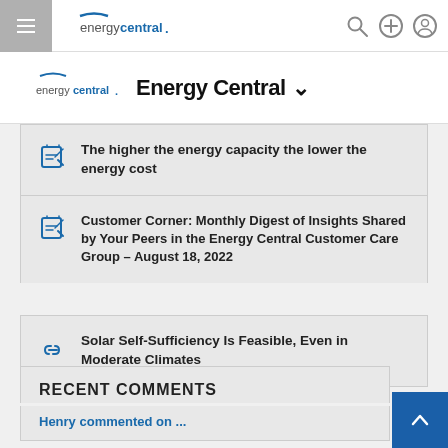energycentral. [navigation bar with hamburger menu, search, add, and profile icons]
Energy Central ∨
The higher the energy capacity the lower the energy cost
Customer Corner: Monthly Digest of Insights Shared by Your Peers in the Energy Central Customer Care Group – August 18, 2022
Solar Self-Sufficiency Is Feasible, Even in Moderate Climates
RECENT COMMENTS
Henry commented on ...